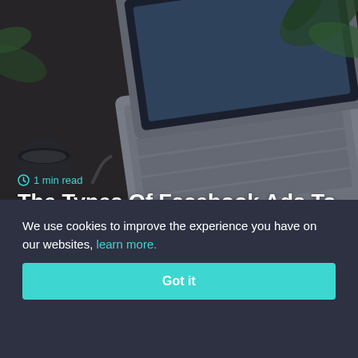[Figure (photo): Overhead/top-down photo of a silver MacBook laptop on a wooden desk with plants, a coffee mug, and cables. The scene is dimly lit with a dark overlay.]
1 min read
The Types Of Facebook Ads To Run To Quickly Succeed (Part 2)
Devin Zander
5 years and 30 days ago
We use cookies to improve the experience you have on our websites, learn more.
Got it